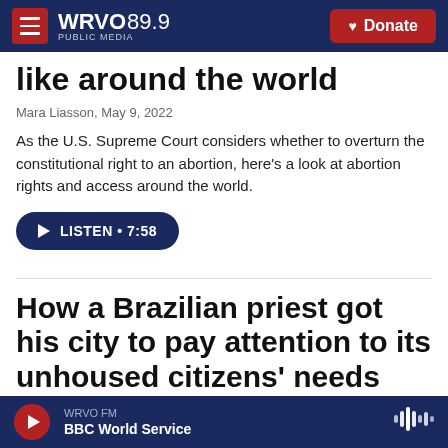WRVO 89.9 PUBLIC MEDIA — Donate
like around the world
Mara Liasson, May 9, 2022
As the U.S. Supreme Court considers whether to overturn the constitutional right to an abortion, here's a look at abortion rights and access around the world.
LISTEN • 7:58
How a Brazilian priest got his city to pay attention to its unhoused citizens' needs
WRVO FM — BBC World Service